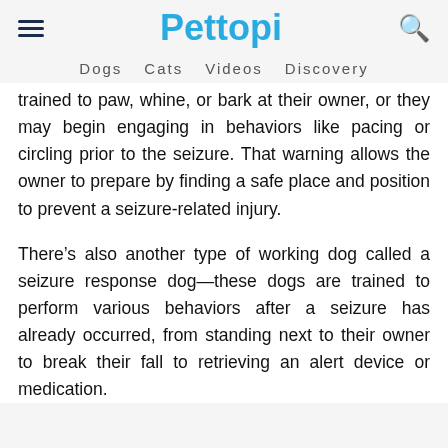Pettopi
Dogs  Cats  Videos  Discovery
trained to paw, whine, or bark at their owner, or they may begin engaging in behaviors like pacing or circling prior to the seizure. That warning allows the owner to prepare by finding a safe place and position to prevent a seizure-related injury.
There’s also another type of working dog called a seizure response dog—these dogs are trained to perform various behaviors after a seizure has already occurred, from standing next to their owner to break their fall to retrieving an alert device or medication.